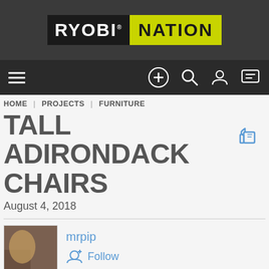[Figure (logo): RYOBI NATION logo — black rectangle with white RYOBI text and yellow-green rectangle with black NATION text]
[Figure (screenshot): Navigation bar with hamburger menu on left and icons (circle-plus, search, profile, chat) on right against dark background]
HOME | PROJECTS | FURNITURE
TALL ADIRONDACK CHAIRS
August 4, 2018
[Figure (illustration): Thumbs-up like icon in blue]
mrpip
+ Follow
[Figure (photo): Workshop photo showing a pegboard with tools on the left and a heater/equipment on the right]